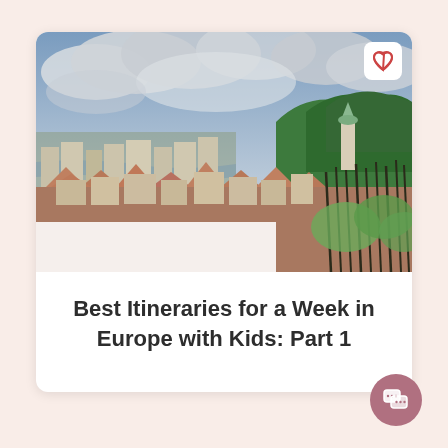[Figure (photo): Aerial panoramic photo of Prague cityscape with red-tiled rooftops, green forested hills, church with green dome, and dramatic cloudy sky]
Best Itineraries for a Week in Europe with Kids: Part 1